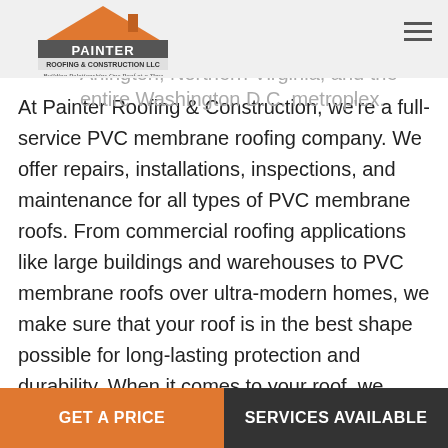Painter Roofing & Construction LLC — Building Relationships One Roof at a Time
Construction is the leading name in this type of roofing throughout Arlington, Northern Virginia, and the entire Washington D.C. metroplex.
At Painter Roofing & Construction, we're a full-service PVC membrane roofing company. We offer repairs, installations, inspections, and maintenance for all types of PVC membrane roofs. From commercial roofing applications like large buildings and warehouses to PVC membrane roofs over ultra-modern homes, we make sure that your roof is in the best shape possible for long-lasting protection and durability. When it comes to your roof, we know we can never be too careful, and we go to great lengths to make sure all of our following...
GET A PRICE | SERVICES AVAILABLE